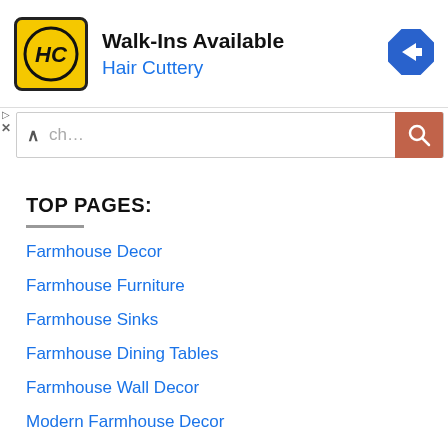[Figure (screenshot): Advertisement banner for Hair Cuttery with yellow logo, text 'Walk-Ins Available' and blue navigation arrow icon on right]
[Figure (screenshot): Search bar with up-caret, partial text 'ch...', and orange search button with magnifying glass]
TOP PAGES:
Farmhouse Decor
Farmhouse Furniture
Farmhouse Sinks
Farmhouse Dining Tables
Farmhouse Wall Decor
Modern Farmhouse Decor
Farmhouse Kitchen (partial)